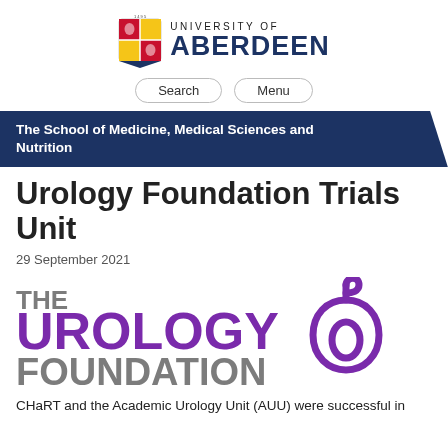[Figure (logo): University of Aberdeen logo with crest and text]
[Figure (other): Navigation bar with Search and Menu buttons]
The School of Medicine, Medical Sciences and Nutrition
Urology Foundation Trials Unit
29 September 2021
[Figure (logo): The Urology Foundation logo with purple text and drop icon]
CHaRT and the Academic Urology Unit (AUU) were successful in